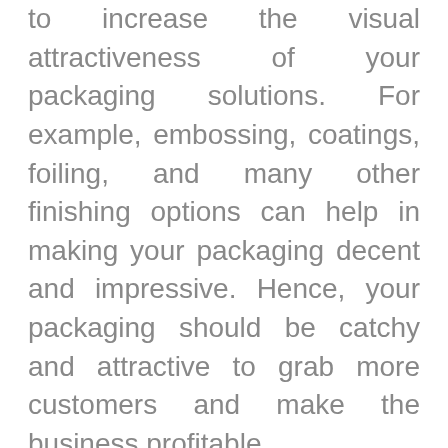to increase the visual attractiveness of your packaging solutions. For example, embossing, coatings, foiling, and many other finishing options can help in making your packaging decent and impressive. Hence, your packaging should be catchy and attractive to grab more customers and make the business profitable.
Modifying your product boxes can be a great idea to win appreciation from customers. According to modern trends, you should keep monitoring recent packaging trends and modify your paper